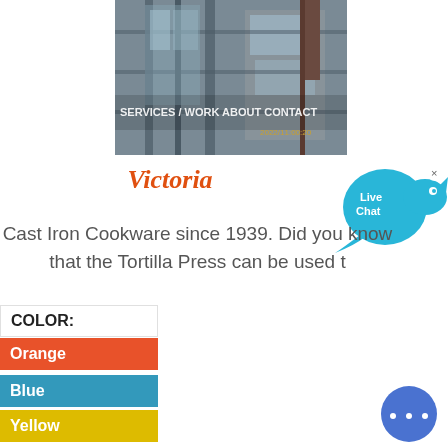[Figure (photo): Industrial building/scaffolding with metal structure and glass panels, with navigation bar overlay showing SERVICES / WORK / ABOUT CONTACT in white text]
Victoria
[Figure (infographic): Live Chat bubble widget in blue/teal color with speech bubble shape and x close button]
Cast Iron Cookware since 1939. Did you know that the Tortilla Press can be used t
COLOR:
Orange
Blue
Yellow
[Figure (infographic): Blue circular chat/messaging button with three dots ellipsis icon in lower right corner]